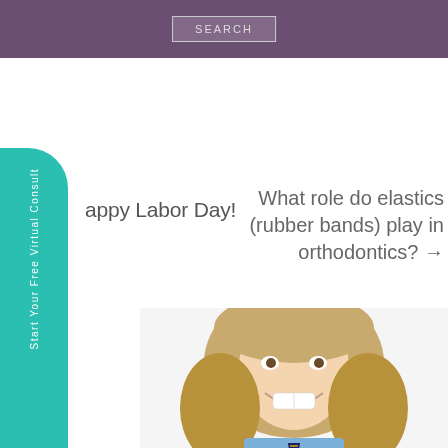SEARCH
[Figure (screenshot): Teal vertical sidebar button with rotated text 'Start Your Free Virtual Consult' and arrow icon]
appy Labor Day!
What role do elastics (rubber bands) play in orthodontics? →
[Figure (photo): Young smiling girl with long blonde hair wearing a blue shirt and striped tie, showing her teeth with braces area visible]